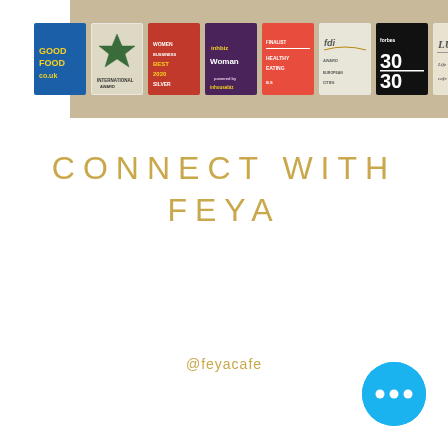[Figure (illustration): Awards banner strip on beige/tan background showing 8 award badges/logos including Good Food, International award, Women Best 2020, inhbiz Woman, a red award badge, FDI award, Forbes 30/30, and LUX Life Cafe award]
CONNECT WITH FEYA
@feyacafe
[Figure (other): Instagram icon - grey circular badge with Instagram camera logo]
[Figure (other): Blue circular chat/more options button with three white dots]